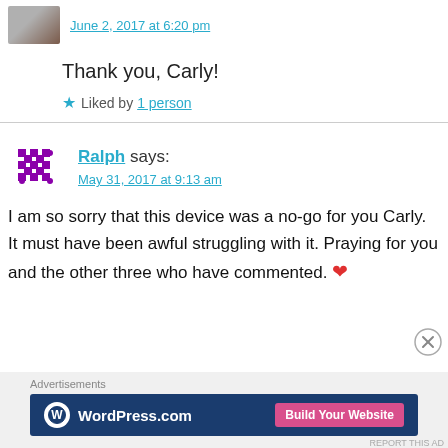June 2, 2017 at 6:20 pm
Thank you, Carly!
★ Liked by 1 person
Ralph says:
May 31, 2017 at 9:13 am
I am so sorry that this device was a no-go for you Carly. It must have been awful struggling with it. Praying for you and the other three who have commented. ❤
Advertisements
[Figure (screenshot): WordPress.com advertisement banner with Build Your Website button]